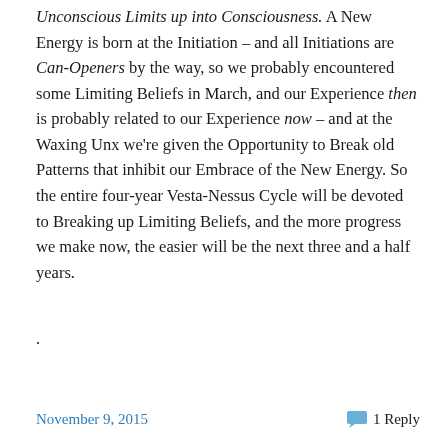Unconscious Limits up into Consciousness. A New Energy is born at the Initiation – and all Initiations are Can-Openers by the way, so we probably encountered some Limiting Beliefs in March, and our Experience then is probably related to our Experience now – and at the Waxing Unx we're given the Opportunity to Break old Patterns that inhibit our Embrace of the New Energy. So the entire four-year Vesta-Nessus Cycle will be devoted to Breaking up Limiting Beliefs, and the more progress we make now, the easier will be the next three and a half years.
.
November 9, 2015   1 Reply